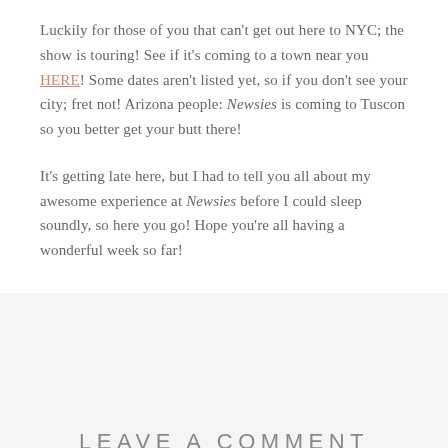Luckily for those of you that can't get out here to NYC; the show is touring! See if it's coming to a town near you HERE! Some dates aren't listed yet, so if you don't see your city; fret not! Arizona people: Newsies is coming to Tuscon so you better get your butt there!
It's getting late here, but I had to tell you all about my awesome experience at Newsies before I could sleep soundly, so here you go! Hope you're all having a wonderful week so far!
LEAVE A COMMENT